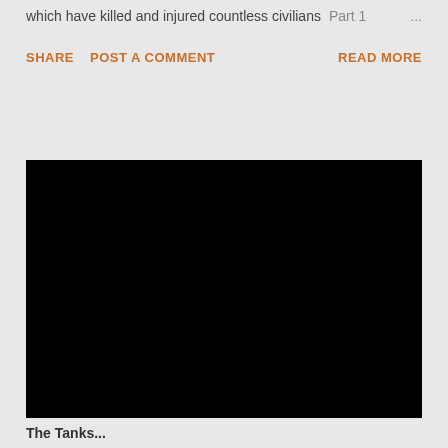which have killed and injured countless civilians   Part 1   ...
SHARE   POST A COMMENT   READ MORE
[Figure (photo): A large black rectangle representing an embedded video or image that is not loading or is blacked out.]
The Tanks...